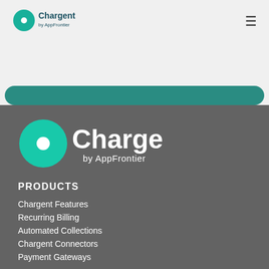[Figure (logo): Chargent by AppFrontier logo in navigation bar]
[Figure (logo): Chargent by AppFrontier large logo in footer section]
PRODUCTS
Chargent Features
Recurring Billing
Automated Collections
Chargent Connectors
Payment Gateways